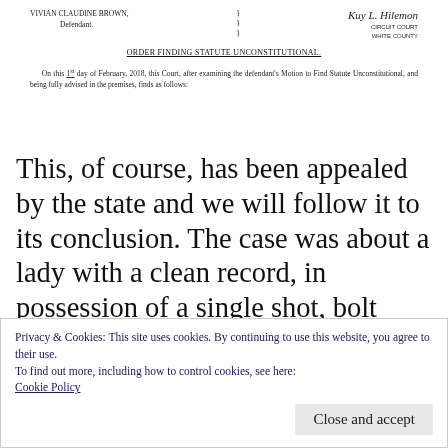VIVIAN CLAUDINE BROWN, Defendant.
[Figure (other): Handwritten signature of circuit court clerk, White County]
ORDER FINDING STATUTE UNCONSTITUTIONAL.
On this 1st day of February, 2018, this Court, after examining the defendant's Motion to Find Statute Unconstitutional, and being fully advised in the premises, finds as follows:
This, of course, has been appealed by the state and we will follow it to its conclusion. The case was about a lady with a clean record, in possession of a single shot, bolt action rifle .22 in the home for personal protection. No FOID
Privacy & Cookies: This site uses cookies. By continuing to use this website, you agree to their use.
To find out more, including how to control cookies, see here: Cookie Policy
Close and accept